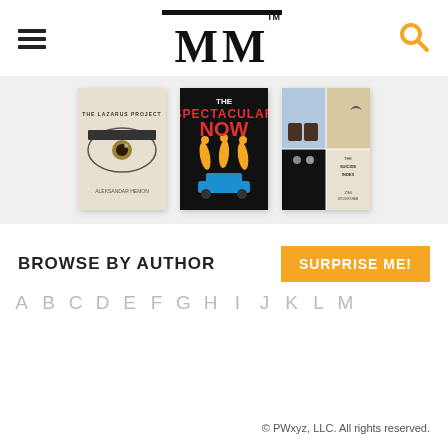MM (logo with hamburger menu and search icon)
[Figure (illustration): Three book covers displayed in a light gray banner: 'The Lazarus Project' by Aleksandar Hemon, 'The Spectacular Now', and 'The Suicide Index' by Joan Wickersham]
BROWSE BY AUTHOR
SURPRISE ME!
A  B  C  D  E  F  G  H  I  J  K  L  M
© PWxyz, LLC. All rights reserved.